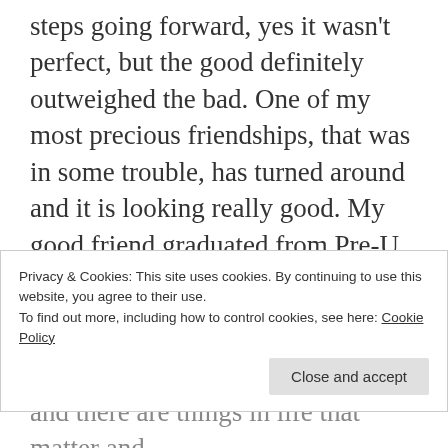steps going forward, yes it wasn't perfect, but the good definitely outweighed the bad. One of my most precious friendships, that was in some trouble, has turned around and it is looking really good. My good friend graduated from Pre-U. I got back to work. Ivy is on the way (3 weeks).
Looking back, I've learnt more about friendship, it's not always easy, and it takes
Privacy & Cookies: This site uses cookies. By continuing to use this website, you agree to their use.
To find out more, including how to control cookies, see here: Cookie Policy
and there are things in life that matter and